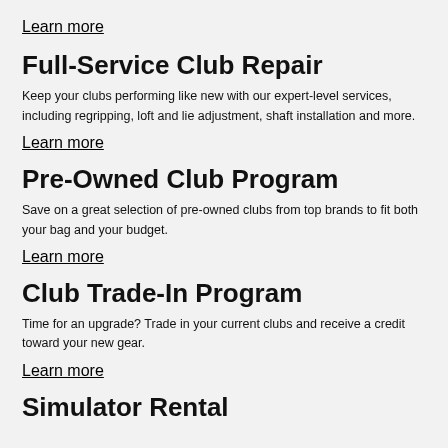Learn more
Full-Service Club Repair
Keep your clubs performing like new with our expert-level services, including regripping, loft and lie adjustment, shaft installation and more.
Learn more
Pre-Owned Club Program
Save on a great selection of pre-owned clubs from top brands to fit both your bag and your budget.
Learn more
Club Trade-In Program
Time for an upgrade? Trade in your current clubs and receive a credit toward your new gear.
Learn more
Simulator Rental